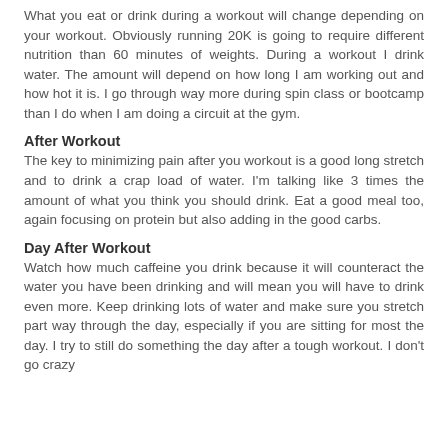What you eat or drink during a workout will change depending on your workout. Obviously running 20K is going to require different nutrition than 60 minutes of weights. During a workout I drink water. The amount will depend on how long I am working out and how hot it is. I go through way more during spin class or bootcamp than I do when I am doing a circuit at the gym.
After Workout
The key to minimizing pain after you workout is a good long stretch and to drink a crap load of water. I'm talking like 3 times the amount of what you think you should drink. Eat a good meal too, again focusing on protein but also adding in the good carbs.
Day After Workout
Watch how much caffeine you drink because it will counteract the water you have been drinking and will mean you will have to drink even more. Keep drinking lots of water and make sure you stretch part way through the day, especially if you are sitting for most the day. I try to still do something the day after a tough workout. I don't go crazy